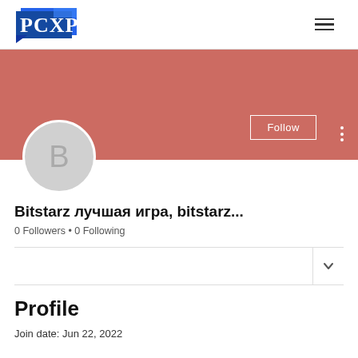PCXP logo and navigation
[Figure (screenshot): User profile page with salmon/coral banner, avatar circle with letter B, Follow button, three-dot menu]
Bitstarz лучшая игра, bitstarz...
0 Followers • 0 Following
Profile
Join date: Jun 22, 2022